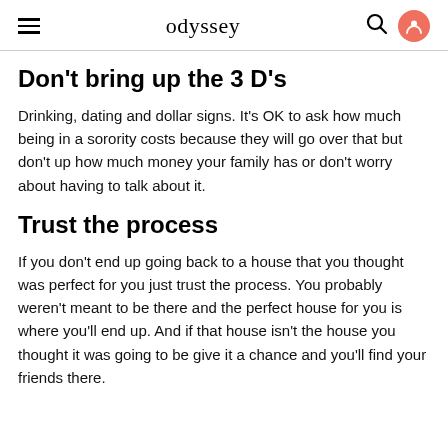odyssey
Don't bring up the 3 D's
Drinking, dating and dollar signs. It's OK to ask how much being in a sorority costs because they will go over that but don't up how much money your family has or don't worry about having to talk about it.
Trust the process
If you don't end up going back to a house that you thought was perfect for you just trust the process. You probably weren't meant to be there and the perfect house for you is where you'll end up. And if that house isn't the house you thought it was going to be give it a chance and you'll find your friends there.